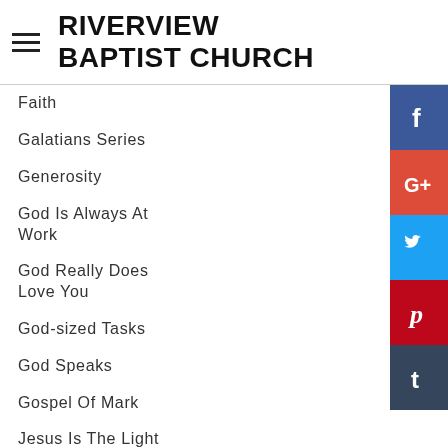RIVERVIEW BAPTIST CHURCH
Faith
Galatians Series
Generosity
God Is Always At Work
God Really Does Love You
God-sized Tasks
God Speaks
Gospel Of Mark
Jesus Is The Light
Jonah Series